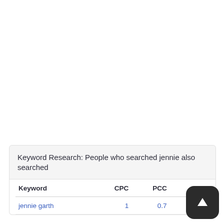Keyword Research: People who searched jennie also searched
| Keyword | CPC | PCC | Vol |
| --- | --- | --- | --- |
| jennie garth | 1 | 0.7 | 6563 |